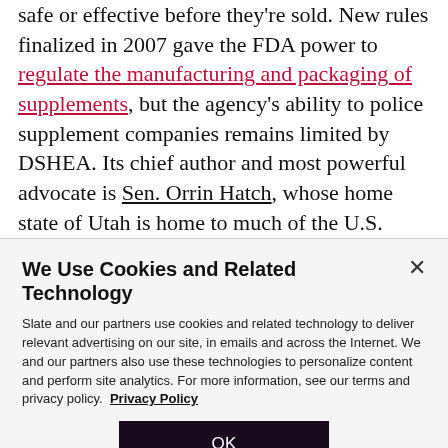safe or effective before they're sold. New rules finalized in 2007 gave the FDA power to regulate the manufacturing and packaging of supplements, but the agency's ability to police supplement companies remains limited by DSHEA. Its chief author and most powerful advocate is Sen. Orrin Hatch, whose home state of Utah is home to much of the U.S. supplement industry. Hatch, who attributes his good health to the supplements he takes each day, fought a recent
We Use Cookies and Related Technology

Slate and our partners use cookies and related technology to deliver relevant advertising on our site, in emails and across the Internet. We and our partners also use these technologies to personalize content and perform site analytics. For more information, see our terms and privacy policy. Privacy Policy

OK